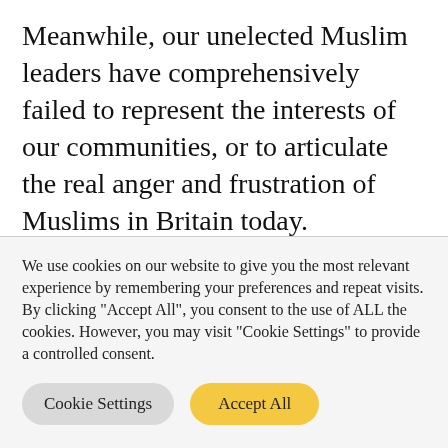Meanwhile, our unelected Muslim leaders have comprehensively failed to represent the interests of our communities, or to articulate the real anger and frustration of Muslims in Britain today.
It is utterly contemptible that not a single community leader has challenged the hypocrisy of politicians who sanctimoniously
We use cookies on our website to give you the most relevant experience by remembering your preferences and repeat visits. By clicking "Accept All", you consent to the use of ALL the cookies. However, you may visit "Cookie Settings" to provide a controlled consent.